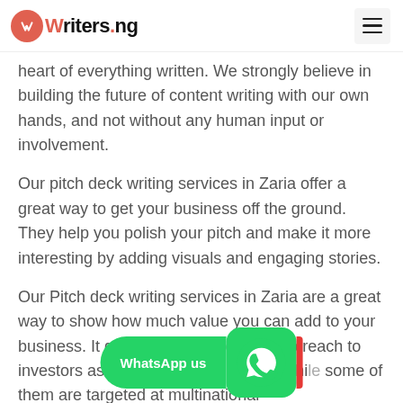Writers.ng
heart of everything written. We strongly believe in building the future of content writing with our own hands, and not without any human input or involvement.
Our pitch deck writing services in Zaria offer a great way to get your business off the ground. They help you polish your pitch and make it more interesting by adding visuals and engaging stories.
Our Pitch deck writing services in Zaria are a great way to show how much value you can add to your business. It gives you an opportunity to reach to investors as well as potential clients, while some of them are targeted at multinational